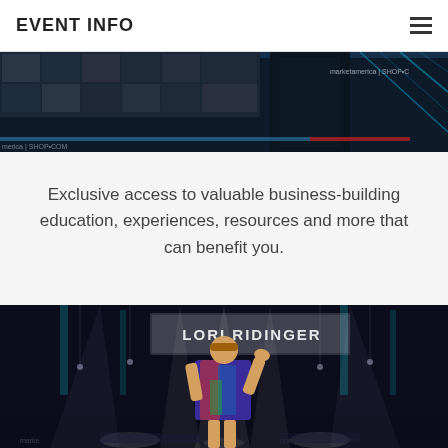EVENT INFO
[Figure (photo): Stage event photo showing screens with Market America | SHOP.COM branding, blue LED lighting and audience video grid]
Exclusive access to valuable business-building education, experiences, resources and more that can benefit you.
[Figure (photo): Lori Ridinger on stage at a Market America event, wearing a colorful sequined dress, waving, with her name displayed on screen behind her and dramatic stage lighting]